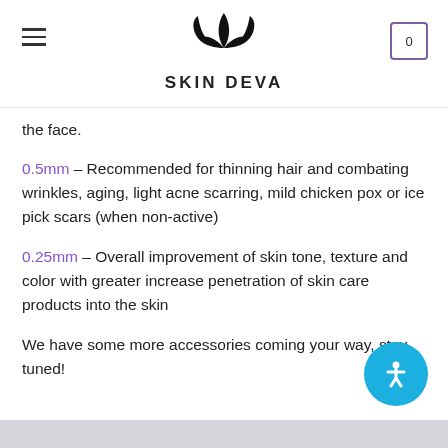SKIN DEVA
the face.
0.5mm – Recommended for thinning hair and combating wrinkles, aging, light acne scarring, mild chicken pox or ice pick scars (when non-active)
0.25mm – Overall improvement of skin tone, texture and color with greater increase penetration of skin care products into the skin
We have some more accessories coming your way, stay tuned!